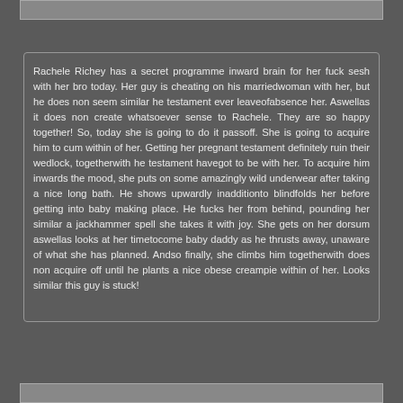Rachele Richey has a secret programme inward brain for her fuck sesh with her bro today. Her guy is cheating on his marriedwoman with her, but he does non seem similar he testament ever leaveofabsence her. Aswellas it does non create whatsoever sense to Rachele. They are so happy together! So, today she is going to do it passoff. She is going to acquire him to cum within of her. Getting her pregnant testament definitely ruin their wedlock, togetherwith he testament havegot to be with her. To acquire him inwards the mood, she puts on some amazingly wild underwear after taking a nice long bath. He shows upwardly inadditionto blindfolds her before getting into baby making place. He fucks her from behind, pounding her similar a jackhammer spell she takes it with joy. She gets on her dorsum aswellas looks at her timetocome baby daddy as he thrusts away, unaware of what she has planned. Andso finally, she climbs him togetherwith does non acquire off until he plants a nice obese creampie within of her. Looks similar this guy is stuck!